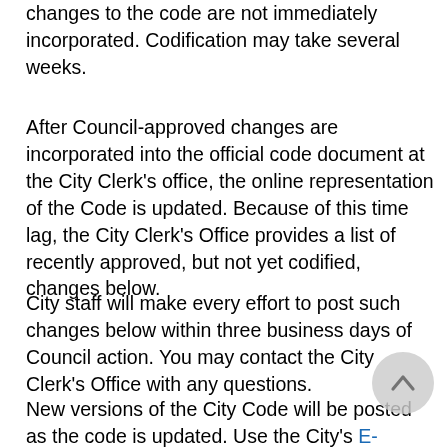changes to the code are not immediately incorporated. Codification may take several weeks.
After Council-approved changes are incorporated into the official code document at the City Clerk's office, the online representation of the Code is updated. Because of this time lag, the City Clerk's Office provides a list of recently approved, but not yet codified, changes below.
City staff will make every effort to post such changes below within three business days of Council action. You may contact the City Clerk's Office with any questions.
New versions of the City Code will be posted as the code is updated. Use the City's E-